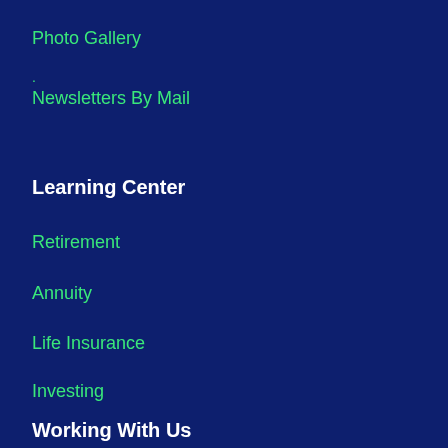Photo Gallery
·
Newsletters By Mail
Learning Center
Retirement
Annuity
Life Insurance
Investing
Tax Library
Other Financial Topics
Working With Us